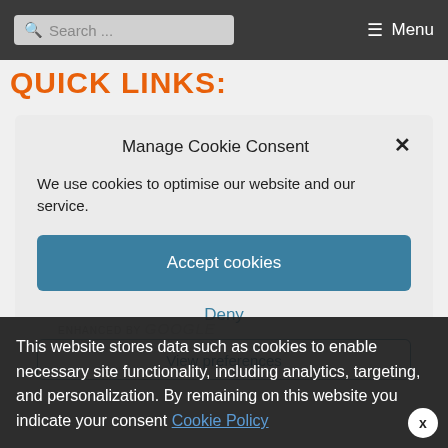Search ... Menu
QUICK LINKS:
Manage Cookie Consent
We use cookies to optimise our website and our service.
Accept cookies
Deny
View preferences
This website stores data such as cookies to enable necessary site functionality, including analytics, targeting, and personalization. By remaining on this website you indicate your consent Cookie Policy